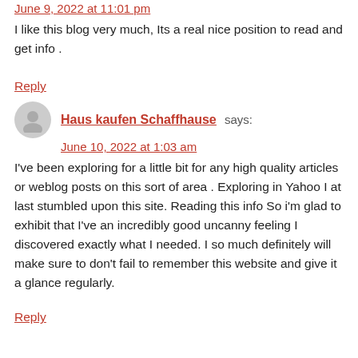June 9, 2022 at 11:01 pm
I like this blog very much, Its a real nice position to read and get info .
Reply
Haus kaufen Schaffhause says:
June 10, 2022 at 1:03 am
I've been exploring for a little bit for any high quality articles or weblog posts on this sort of area . Exploring in Yahoo I at last stumbled upon this site. Reading this info So i'm glad to exhibit that I've an incredibly good uncanny feeling I discovered exactly what I needed. I so much definitely will make sure to don't fail to remember this website and give it a glance regularly.
Reply